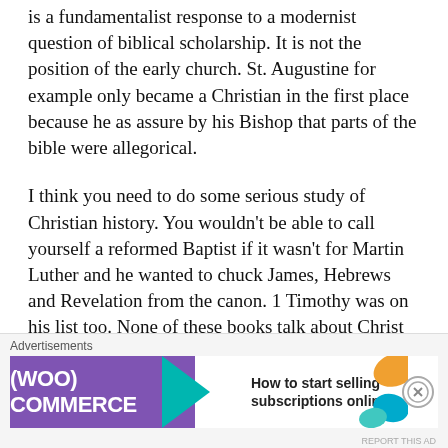is a fundamentalist response to a modernist question of biblical scholarship. It is not the position of the early church. St. Augustine for example only became a Christian in the first place because he as assure by his Bishop that parts of the bible were allegorical.
I think you need to do some serious study of Christian history. You wouldn't be able to call yourself a reformed Baptist if it wasn't for Martin Luther and he wanted to chuck James, Hebrews and Revelation from the canon. 1 Timothy was on his list too. None of these books talk about Christ much, but give lots of advice about how we should act. Luther was adamant Christ is the Word... And the bible is
Advertisements
[Figure (other): WooCommerce advertisement banner: purple background with WooCommerce logo and teal arrow, text reading 'How to start selling subscriptions online', orange decorative shapes on right]